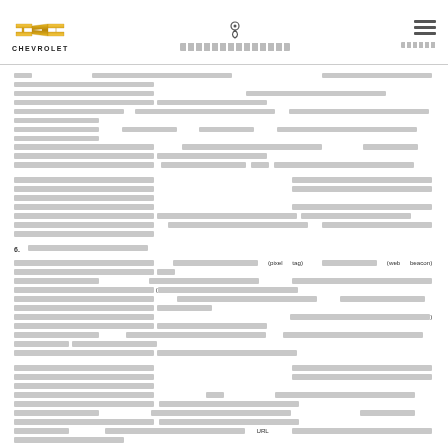Chevrolet header with logo, navigation icon, and menu
Body paragraph 1 - Thai language text (redacted)
Body paragraph 2 - Thai language text (redacted)
6. Section header - Thai language (redacted)
Paragraph about pixel tag and web beacon technology
Paragraph with URL reference
Final paragraph - Thai language text (redacted)